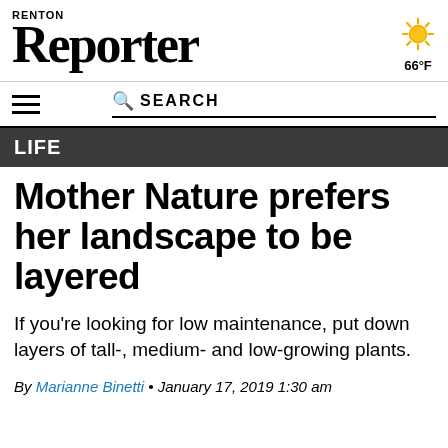Renton Reporter
[Figure (illustration): Sun weather icon with rays, showing 66°F temperature]
LIFE
Mother Nature prefers her landscape to be layered
If you're looking for low maintenance, put down layers of tall-, medium- and low-growing plants.
By Marianne Binetti • January 17, 2019 1:30 am